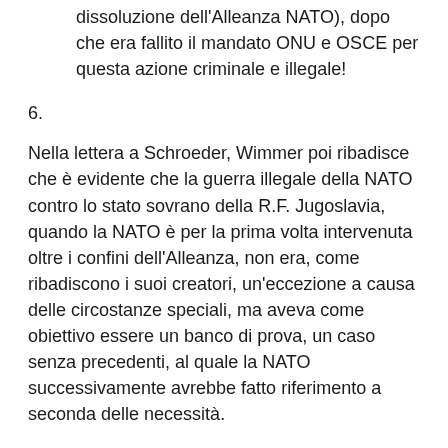dissoluzione dell'Alleanza NATO), dopo che era fallito il mandato ONU e OSCE per questa azione criminale e illegale!
6.
Nella lettera a Schroeder, Wimmer poi ribadisce che è evidente che la guerra illegale della NATO contro lo stato sovrano della R.F. Jugoslavia, quando la NATO è per la prima volta intervenuta oltre i confini dell'Alleanza, non era, come ribadiscono i suoi creatori, un'eccezione a causa delle circostanze speciali, ma aveva come obiettivo essere un banco di prova, un caso senza precedenti, al quale la NATO successivamente avrebbe fatto riferimento a seconda delle necessità.
Naturalmente non è passato molto tempo per vedere la conferma, ovvero le guerre illegali della NATO contro Iraq